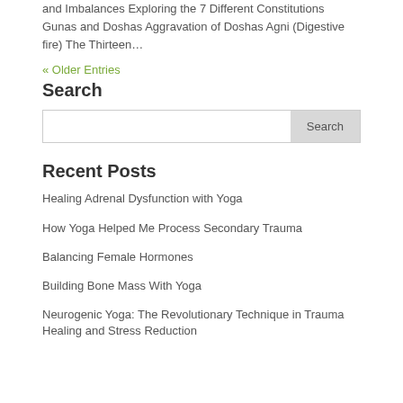and Imbalances Exploring the 7 Different Constitutions Gunas and Doshas Aggravation of Doshas Agni (Digestive fire) The Thirteen…
« Older Entries
Search
Search
Recent Posts
Healing Adrenal Dysfunction with Yoga
How Yoga Helped Me Process Secondary Trauma
Balancing Female Hormones
Building Bone Mass With Yoga
Neurogenic Yoga: The Revolutionary Technique in Trauma Healing and Stress Reduction